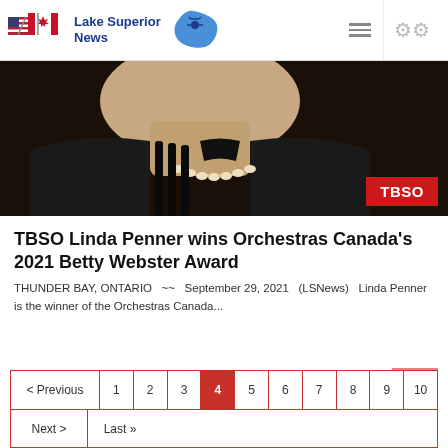Lake Superior News
[Figure (photo): Close-up photo of a woman wearing a pearl necklace and black jacket, with a TBSO red badge overlay in the bottom-right corner]
TBSO Linda Penner wins Orchestras Canada's 2021 Betty Webster Award
THUNDER BAY, ONTARIO  ~~  September 29, 2021  (LSNews)  Linda Penner is the winner of the Orchestras Canada...
< Previous  1  2  3  4  5  6  7  8  9  10  Next >  Last »